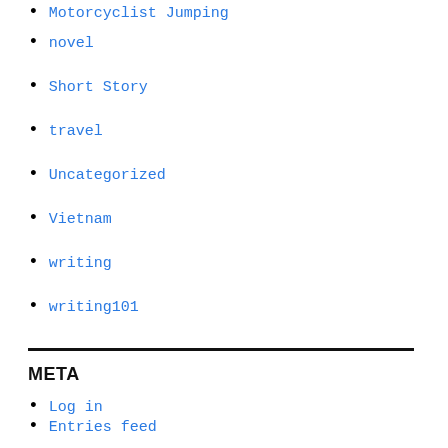Motorcyclist Jumping
novel
Short Story
travel
Uncategorized
Vietnam
writing
writing101
META
Log in
Entries feed
Comments feed
WordPress.org